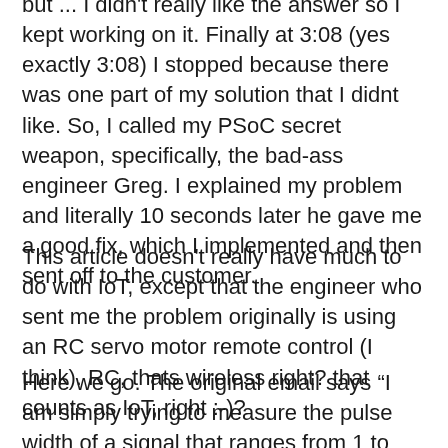but ... I didn't really like the answer so I kept working on it.  Finally at 3:08 (yes exactly 3:08) I stopped because there was one part of my solution that I didnt like.  So, I called my PSoC secret weapon, specifically, the bad-ass engineer Greg.  I explained my problem and literally 10 seconds later he gave me a good fix, which I implemented and then sent off to the customer.
This article doesn't really have much to do with IoT, except that the engineer who sent me the problem originally is using an RC servo motor remote control (I think).  RC, thats wireless right?  that counts as IoT, right :-)?
Here we go.  The original email says “I am simply trying to measure the pulse width of a signal that ranges from 1 to 2ms. I can easily do this on an Arduino using pin change interrupts but I wanted to implement this on a PSOC so I decided to use